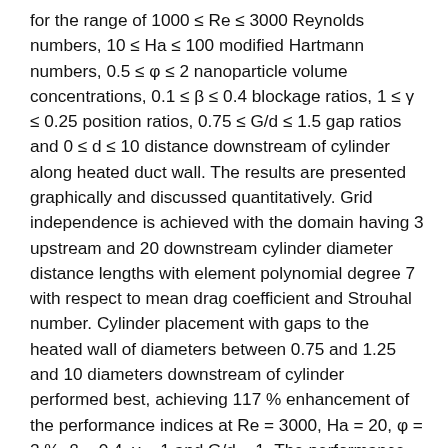for the range of 1000 ≤ Re ≤ 3000 Reynolds numbers, 10 ≤ Ha ≤ 100 modified Hartmann numbers, 0.5 ≤ φ ≤ 2 nanoparticle volume concentrations, 0.1 ≤ β ≤ 0.4 blockage ratios, 1 ≤ γ ≤ 0.25 position ratios, 0.75 ≤ G/d ≤ 1.5 gap ratios and 0 ≤ d ≤ 10 distance downstream of cylinder along heated duct wall. The results are presented graphically and discussed quantitatively. Grid independence is achieved with the domain having 3 upstream and 20 downstream cylinder diameter distance lengths with element polynomial degree 7 with respect to mean drag coefficient and Strouhal number. Cylinder placement with gaps to the heated wall of diameters between 0.75 and 1.25 and 10 diameters downstream of cylinder performed best, achieving 117 % enhancement of the performance indices at Re = 3000, Ha = 20, φ = 2 %, β = 0.4, γ = 1 and G/d = 1. The performance indices were greater than one for all the cases tested, which indicates that the heat transfer enhancement